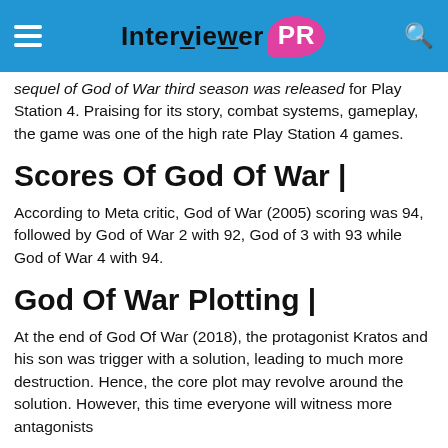Interviewer PR
sequel of God of War third season was released for Play Station 4. Praising for its story, combat systems, gameplay, the game was one of the high rate Play Station 4 games.
Scores Of God Of War |
According to Meta critic, God of War (2005) scoring was 94, followed by God of War 2 with 92, God of 3 with 93 while God of War 4 with 94.
God Of War Plotting |
At the end of God Of War (2018), the protagonist Kratos and his son was trigger with a solution, leading to much more destruction. Hence, the core plot may revolve around the solution. However, this time everyone will witness more antagonists